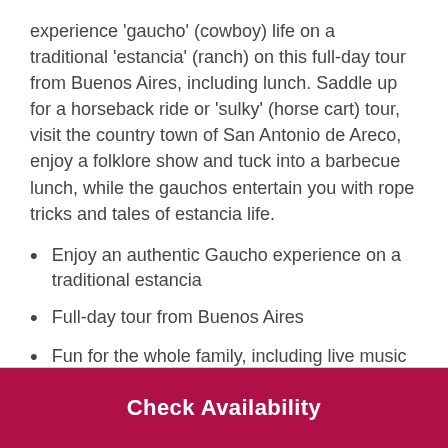experience 'gaucho' (cowboy) life on a traditional 'estancia' (ranch) on this full-day tour from Buenos Aires, including lunch. Saddle up for a horseback ride or 'sulky' (horse cart) tour, visit the country town of San Antonio de Areco, enjoy a folklore show and tuck into a barbecue lunch, while the gauchos entertain you with rope tricks and tales of estancia life.
Enjoy an authentic Gaucho experience on a traditional estancia
Full-day tour from Buenos Aires
Fun for the whole family, including live music and dancing
Round-trip transportation from your hotel
Check Availability